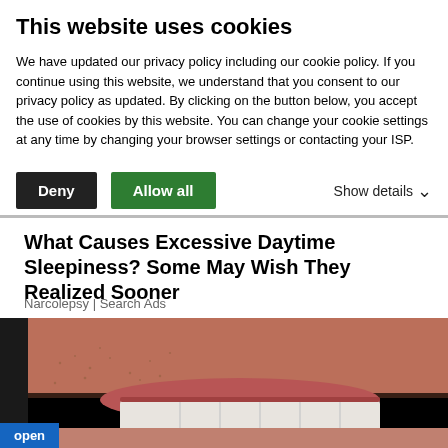This website uses cookies
We have updated our privacy policy including our cookie policy.    If you continue using this website, we understand that you consent to our privacy policy as updated. By clicking on the button below, you accept the use of cookies by this website. You can change your cookie settings at any time by changing your browser settings or contacting your ISP.
Deny | Allow all | Show details
What Causes Excessive Daytime Sleepiness? Some May Wish They Realized Sooner
Narcolepsy | Search Ads
[Figure (photo): Close-up photo of a man's lower face showing teeth in a smile, with stubble beard on chin and upper lip area. A blue 'open' badge is overlaid in the bottom-left corner.]